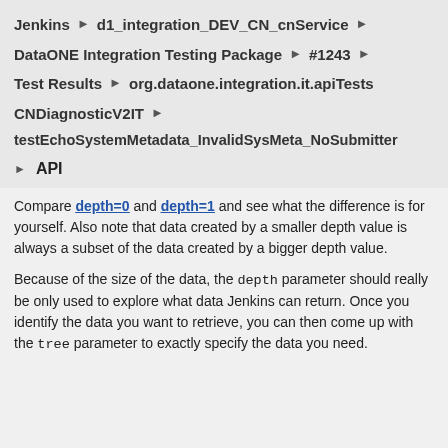Jenkins › d1_integration_DEV_CN_cnService ›
DataONE Integration Testing Package › #1243 ›
Test Results › org.dataone.integration.it.apiTests
CNDiagnosticV2IT ›
testEchoSystemMetadata_InvalidSysMeta_NoSubmitter
▶ API
Compare depth=0 and depth=1 and see what the difference is for yourself. Also note that data created by a smaller depth value is always a subset of the data created by a bigger depth value.
Because of the size of the data, the depth parameter should really be only used to explore what data Jenkins can return. Once you identify the data you want to retrieve, you can then come up with the tree parameter to exactly specify the data you need.